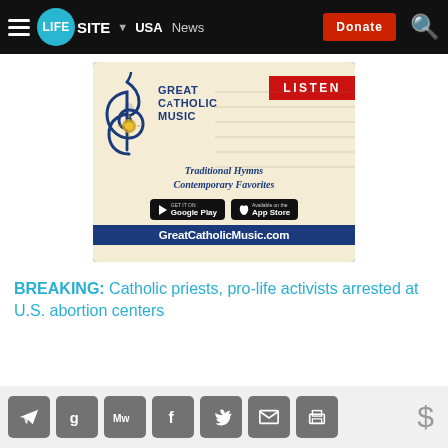LifeSite — USA | News | Donate
[Figure (illustration): Great Catholic Music advertisement banner featuring a treble clef, text 'GREAT CATHOLIC MUSIC', 'Traditional Hymns Contemporary Favorites', Google Play and App Store buttons, and GreatCatholicMusic.com URL with a red LISTEN banner]
BREAKING: Catholic priests, pro-life activists arrested at U.S. abortion centers
[Figure (infographic): Social sharing bar with icons for Telegram, Google, MeWe, Facebook, Twitter, Email, Print, and a dollar sign donate button]